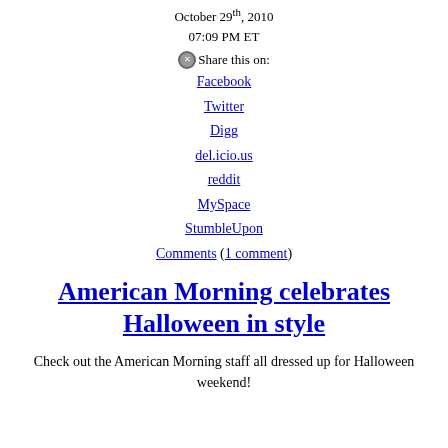October 29th, 2010
07:09 PM ET
Share this on:
Facebook
Twitter
Digg
del.icio.us
reddit
MySpace
StumbleUpon
Comments (1 comment)
American Morning celebrates Halloween in style
Check out the American Morning staff all dressed up for Halloween weekend!